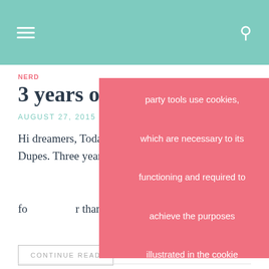NERD
3 years of ... s
AUGUST 27, 2015
Hi dreamers, Today ... Dupes. Three years ago I wrote m... ings are changed from that ... . I would like to say thank you fo... r thank you at who visit my blog. Y...
CONTINUE READ...
party tools use cookies, which are necessary to its functioning and required to achieve the purposes illustrated in the cookie policy. If you want to know more or withdraw your consent to all or some of the cookies, please refer to the cookie policy ACCEPT